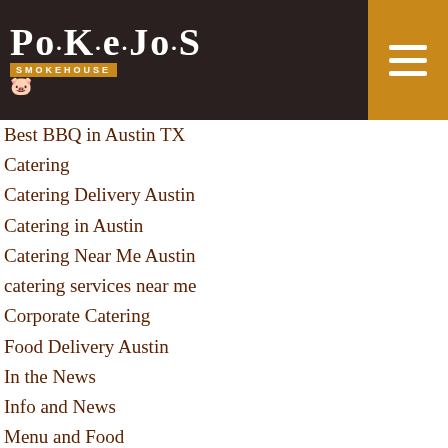[Figure (logo): Pok-e-Jo's Smokehouse logo on dark brown background with orange hamburger menu button]
Best BBQ in Austin TX
Catering
Catering Delivery Austin
Catering in Austin
Catering Near Me Austin
catering services near me
Corporate Catering
Food Delivery Austin
In the News
Info and News
Menu and Food
places that cater near me
Reviews
Takeout
Takeout Near Me
The World of BBQ
Uncategorized
Wedding Catering
Wedding Catering Austin